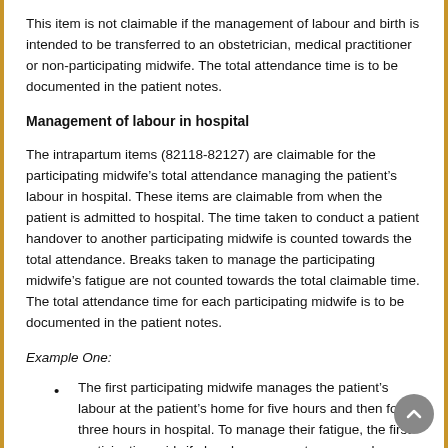This item is not claimable if the management of labour and birth is intended to be transferred to an obstetrician, medical practitioner or non-participating midwife. The total attendance time is to be documented in the patient notes.
Management of labour in hospital
The intrapartum items (82118-82127) are claimable for the participating midwife’s total attendance managing the patient’s labour in hospital. These items are claimable from when the patient is admitted to hospital. The time taken to conduct a patient handover to another participating midwife is counted towards the total attendance. Breaks taken to manage the participating midwife’s fatigue are not counted towards the total claimable time. The total attendance time for each participating midwife is to be documented in the patient notes.
Example One:
The first participating midwife manages the patient’s labour at the patient’s home for five hours and then for three hours in hospital. To manage their fatigue, the first participating midwife hands over care to a second participating midwife and takes a 10 hour break.